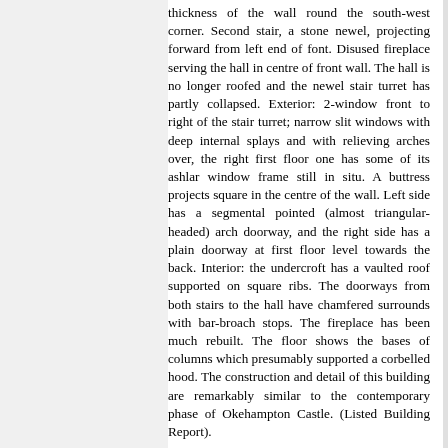thickness of the wall round the south-west corner. Second stair, a stone newel, projecting forward from left end of font. Disused fireplace serving the hall in centre of front wall. The hall is no longer roofed and the newel stair turret has partly collapsed. Exterior: 2-window front to right of the stair turret; narrow slit windows with deep internal splays and with relieving arches over, the right first floor one has some of its ashlar window frame still in situ. A buttress projects square in the centre of the wall. Left side has a segmental pointed (almost triangular-headed) arch doorway, and the right side has a plain doorway at first floor level towards the back. Interior: the undercroft has a vaulted roof supported on square ribs. The doorways from both stairs to the hall have chamfered surrounds with bar-broach stops. The fireplace has been much rebuilt. The floor shows the bases of columns which presumably supported a corbelled hood. The construction and detail of this building are remarkably similar to the contemporary phase of Okehampton Castle. (Listed Building Report).